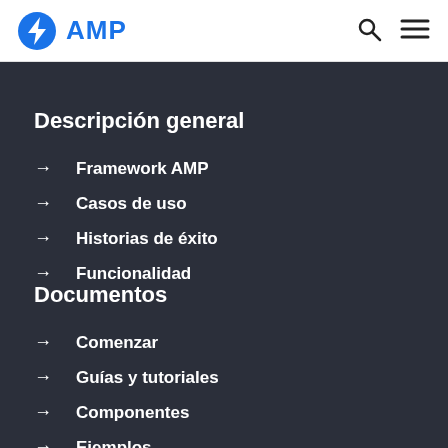AMP
Descripción general
→ Framework AMP
→ Casos de uso
→ Historias de éxito
→ Funcionalidad
Documentos
→ Comenzar
→ Guías y tutoriales
→ Componentes
→ Ejemplos
→ Plantillas de diseño